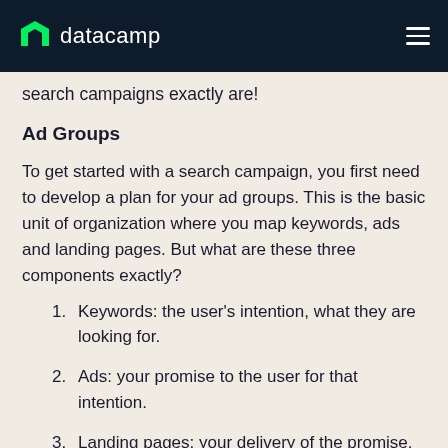datacamp
search campaigns exactly are!
Ad Groups
To get started with a search campaign, you first need to develop a plan for your ad groups. This is the basic unit of organization where you map keywords, ads and landing pages. But what are these three components exactly?
Keywords: the user's intention, what they are looking for.
Ads: your promise to the user for that intention.
Landing pages: your delivery of the promise.
Mapping those three elements properly is around 70-